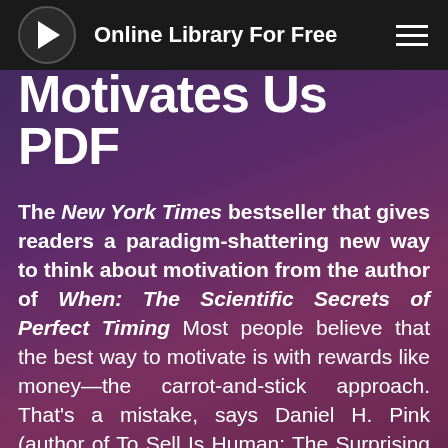Online Library For Free
Motivates Us PDF
The New York Times bestseller that gives readers a paradigm-shattering new way to think about motivation from the author of When: The Scientific Secrets of Perfect Timing Most people believe that the best way to motivate is with rewards like money—the carrot-and-stick approach. That's a mistake, says Daniel H. Pink (author of To Sell Is Human: The Surprising Truth About Motivating Others). In this provocative and persuasive new book, he